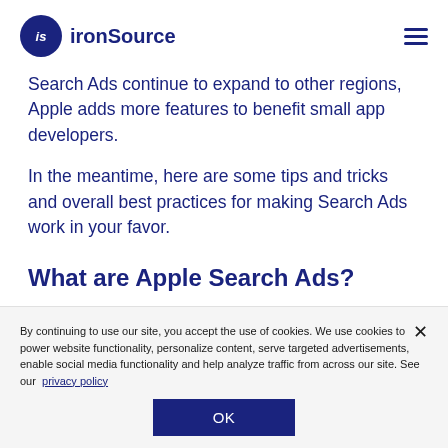ironSource
Search Ads continue to expand to other regions, Apple adds more features to benefit small app developers.
In the meantime, here are some tips and tricks and overall best practices for making Search Ads work in your favor.
What are Apple Search Ads?
By continuing to use our site, you accept the use of cookies. We use cookies to power website functionality, personalize content, serve targeted advertisements, enable social media functionality and help analyze traffic from across our site. See our privacy policy
OK